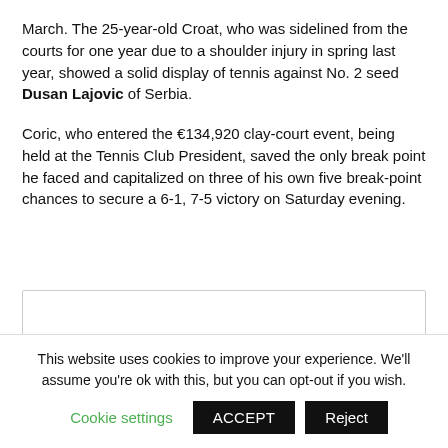March. The 25-year-old Croat, who was sidelined from the courts for one year due to a shoulder injury in spring last year, showed a solid display of tennis against No. 2 seed Dusan Lajovic of Serbia.
Coric, who entered the €134,920 clay-court event, being held at the Tennis Club President, saved the only break point he faced and capitalized on three of his own five break-point chances to secure a 6-1, 7-5 victory on Saturday evening.
[Figure (other): Advertisement or embedded media box with border]
This website uses cookies to improve your experience. We'll assume you're ok with this, but you can opt-out if you wish.